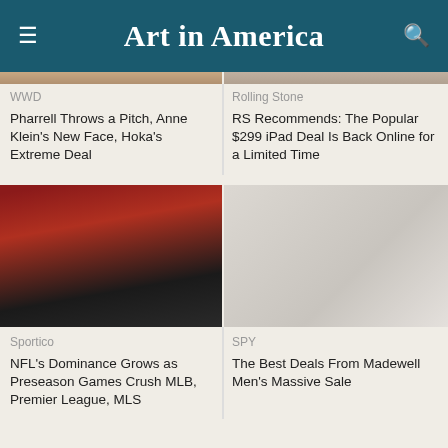Art in America
WWD
Pharrell Throws a Pitch, Anne Klein's New Face, Hoka's Extreme Deal
Rolling Stone
RS Recommends: The Popular $299 iPad Deal Is Back Online for a Limited Time
[Figure (photo): Sports photo of Cardinals player on field]
Sportico
NFL's Dominance Grows as Preseason Games Crush MLB, Premier League, MLS
[Figure (photo): Fashion photo of young man in hoodie sitting]
SPY
The Best Deals From Madewell Men's Massive Sale